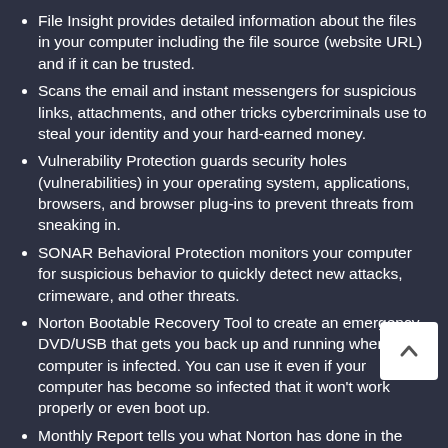File Insight provides detailed information about the files in your computer including the file source (website URL) and if it can be trusted.
Scans the email and instant messengers for suspicious links, attachments, and other tricks cybercriminals use to steal your identity and your hard-earned money.
Vulnerability Protection guards security holes (vulnerabilities) in your operating system, applications, browsers, and browser plug-ins to prevent threats from sneaking in.
SONAR Behavioral Protection monitors your computer for suspicious behavior to quickly detect new attacks, crimeware, and other threats.
Norton Bootable Recovery Tool to create an emergency DVD/USB that gets you back up and running when your computer is infected. You can use it even if your computer has become so infected that it won't work properly or even boot up.
Monthly Report tells you what Norton has done in the past month to protect you and your PC.
Antispam uses the same technology that large businesses rely on to block unwanted,